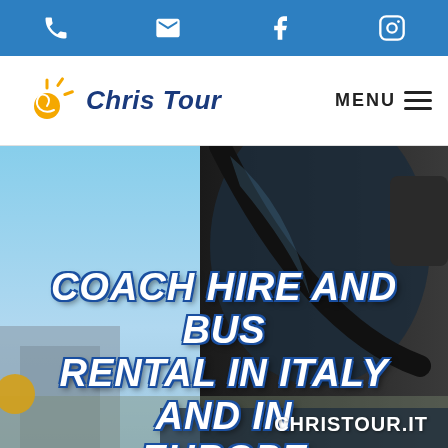Phone | Email | Facebook | Instagram icons
[Figure (logo): Chris Tour logo with orange spiral sun icon and blue italic text 'Chris Tour']
MENU
[Figure (photo): Close-up of a modern coach bus front windshield with blue sky background. Large white bold italic text overlay reads: COACH HIRE AND BUS RENTAL IN ITALY AND IN EUROPE. Bottom right shows CHRISTOUR.IT]
COACH HIRE AND BUS RENTAL IN ITALY AND IN EUROPE
CHRISTOUR.IT